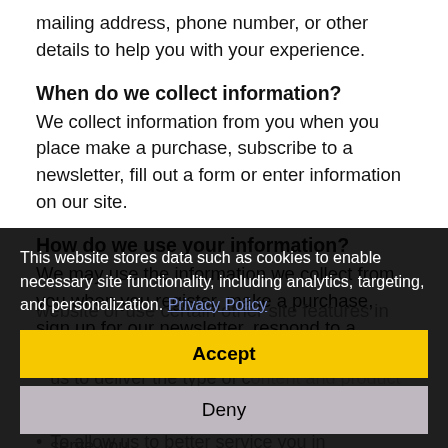mailing address, phone number, or other details to help you with your experience.
When do we collect information?
We collect information from you when you place make a purchase, subscribe to a newsletter, fill out a form or enter information on our site.
How do we use your information?
We may use the information we collect from you when you register, make a purchase, sign up for our newsletter, respond to a survey or marketing communication, surf the website or use certain other site features in the following ways:
To personalize your experience and to allow us to deliver the type of content and product offerings in which you are most interested.
To improve our website in order to better serve you.
To allow us to better service you in responding to
This website stores data such as cookies to enable necessary site functionality, including analytics, targeting, and personalization. Privacy Policy
Accept
Deny